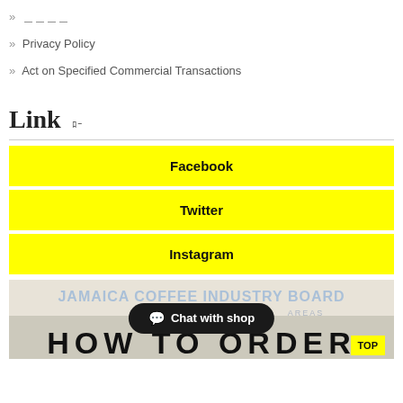» ＿＿＿＿
» Privacy Policy
» Act on Specified Commercial Transactions
Link　ﾛｰ
Facebook
Twitter
Instagram
[Figure (photo): Photo of Jamaica Coffee Industry Board pamphlet/brochure showing text 'JAMAICA COFFEE INDUSTRY BOARD', 'MAJOR... AREAS', and 'HOW TO ORDER' at the bottom]
Chat with shop
TOP